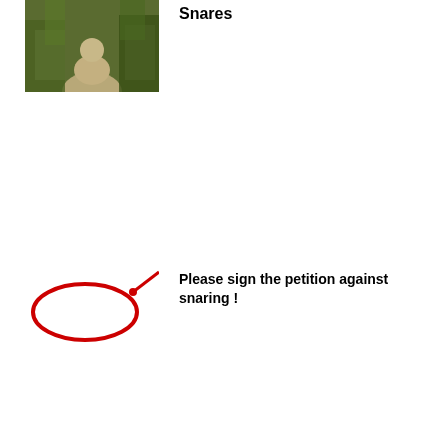[Figure (photo): Photo of a forest path/trail with vegetation]
Snares
[Figure (illustration): Red oval snare illustration on white background]
Please sign the petition against snaring !
[Figure (photo): Photo of an animal being held/restrained by hands]
Imagine the pain?
[Figure (illustration): Red oval snare illustration on white background]
NASC Historical Data
[Figure (photo): Photo related to NASC supporting Lush Stores, orange/red figures visible]
NASC supporting Lush Stores.